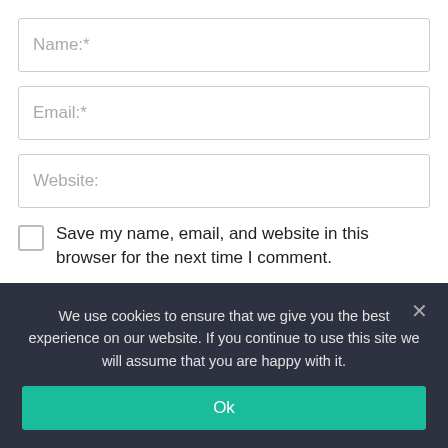Name:*
Email:*
Website:
Save my name, email, and website in this browser for the next time I comment.
POST COMMENT
We use cookies to ensure that we give you the best experience on our website. If you continue to use this site we will assume that you are happy with it.
Ok